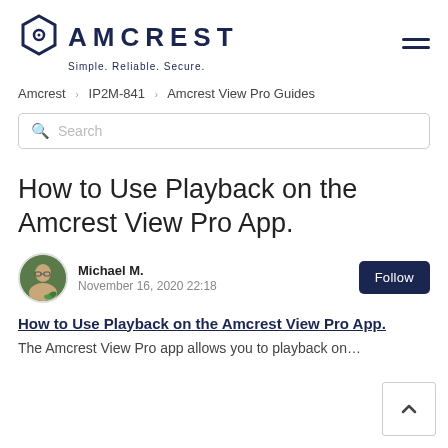AMCREST Simple. Reliable. Secure.
Amcrest > IP2M-841 > Amcrest View Pro Guides
Search
How to Use Playback on the Amcrest View Pro App.
Michael M.
November 16, 2020 22:18
How to Use Playback on the Amcrest View Pro App.
The Amcrest View Pro app allows you to playback on…